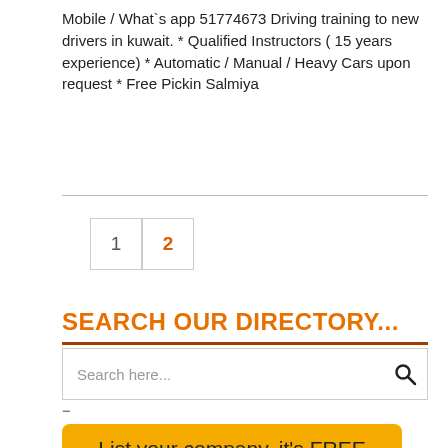Mobile / What`s app 51774673 Driving training to new drivers in kuwait.   * Qualified Instructors ( 15 years experience) * Automatic / Manual / Heavy Cars upon request * Free Pickin Salmiya
[Figure (other): Pagination buttons showing page 1 and page 2, with page 2 highlighted in orange]
SEARCH OUR DIRECTORY...
[Figure (screenshot): Search input box with placeholder text 'Search here...' and a search icon on the right]
-
[Figure (other): Yellow button with text 'List your company. it's FREE']
go top
AC Servicing & Spare P... 15